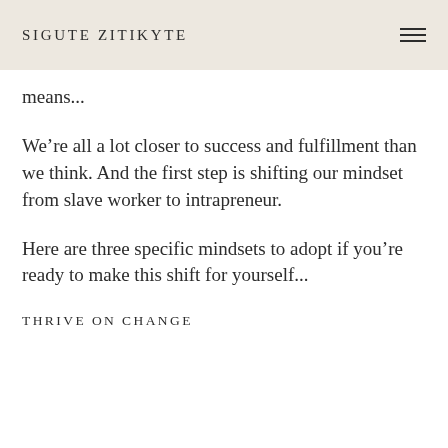SIGUTE ZITIKYTE
means...
We're all a lot closer to success and fulfillment than we think. And the first step is shifting our mindset from slave worker to intrapreneur.
Here are three specific mindsets to adopt if you're ready to make this shift for yourself...
THRIVE ON CHANGE